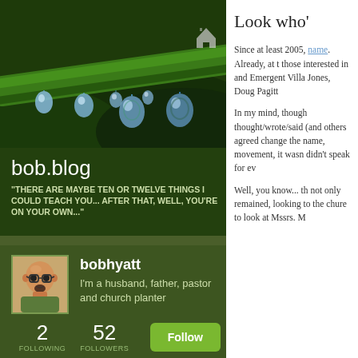[Figure (photo): Close-up macro photo of green plant stem with water droplets hanging from it, dark green background]
bob.blog
"THERE ARE MAYBE TEN OR TWELVE THINGS I COULD TEACH YOU... AFTER THAT, WELL, YOU'RE ON YOUR OWN..."
[Figure (illustration): Avatar illustration of a bald man with glasses and a goatee]
bobhyatt
I'm a husband, father, pastor and church planter
2
FOLLOWING
52
FOLLOWERS
Look who'
Since at least 2005, name. Already, at t those interested in and Emergent Villa Jones, Doug Pagitt
In my mind, though thought/wrote/said (and others agreed change the name, movement, it wasn didn't speak for ev
Well, you know... th not only remained, looking to the chure to look at Mssrs. M